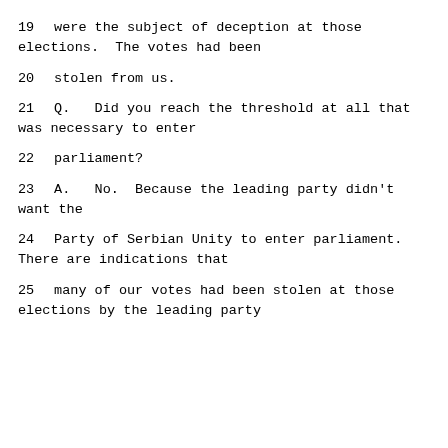19     were the subject of deception at those elections.  The votes had been
20     stolen from us.
21        Q.   Did you reach the threshold at all that was necessary to enter
22     parliament?
23        A.   No.  Because the leading party didn't want the
24     Party of Serbian Unity to enter parliament. There are indications that
25     many of our votes had been stolen at those elections by the leading party